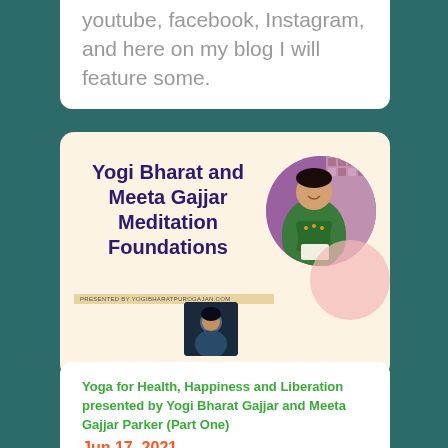youtube, facebook, Instagram, and here on my blog I will feature some.
[Figure (photo): Promotional banner for 'Yogi Bharat and Meeta Gajjar Meditation Foundations' with a circular photo of a woman in green traditional clothing seated, a small avatar thumbnail, and a pink blob decorative element on a peach/cream background.]
Yoga for Health, Happiness and Liberation presented by Yogi Bharat Gajjar and Meeta Gajjar Parker (Part One)
Jun 17, 2021
The show was called "Yoga for